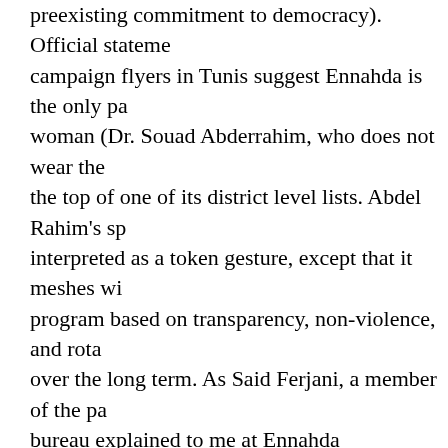preexisting commitment to democracy). Official statements and campaign flyers in Tunis suggest Ennahda is the only party with a woman (Dr. Souad Abderrahim, who does not wear the hijab) at the top of one of its district level lists. Abdel Rahim's specter interpreted as a token gesture, except that it meshes with a program based on transparency, non-violence, and rotation over the long term. As Said Ferjani, a member of the party bureau explained to me at Ennahda headquarters, the group it enjoys widespread popularity now , but this will not always be the case. Hence Ennahda's stated goal is to help build a system that will be equitable and competitive over successive rounds, institutionalizing both uncertainty and fairness for the long term. Ennahda's interest in establishing a stable playing field for future elections may help explain why the group embraces international observers from the Carter Center and the EU, and why it rejects claims from some Tunisian politicians that election monitoring infringes on national sovereignty.